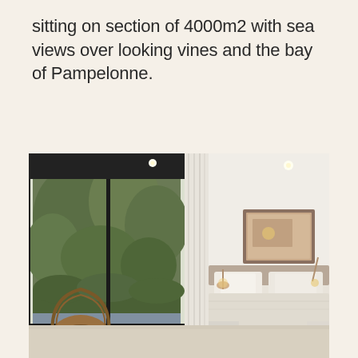sitting on section of 4000m2 with sea views over looking vines and the bay of Pampelonne.
[Figure (photo): Interior bedroom photo showing a modern, bright bedroom with floor-to-ceiling black-framed sliding glass doors looking out to green garden/trees, white ceiling with recessed lighting, cream/white curtains, a bed with white and beige bedding, a framed mirror on the wall, bedside lamps, a rattan chair in the foreground, and a beige upholstered bench at the foot of the bed.]